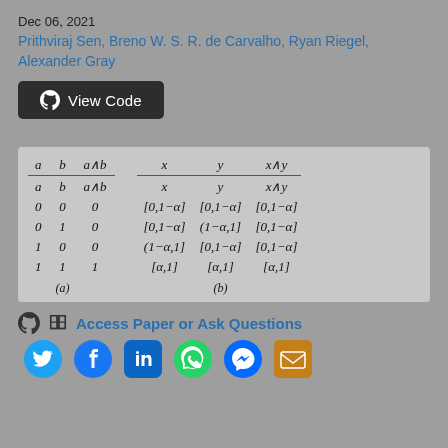Dec 06, 2021
Prithviraj Sen, Breno W. S. R. de Carvalho, Ryan Riegel, Alexander Gray
[Figure (other): View Code button with GitHub icon]
[Figure (table-as-image): Two side-by-side logical tables: (a) truth table for a AND b, (b) interval-valued table for x AND y]
Access Paper or Ask Questions
[Figure (other): Social media icons: Twitter, Facebook, LinkedIn, WhatsApp, Messenger, Email]